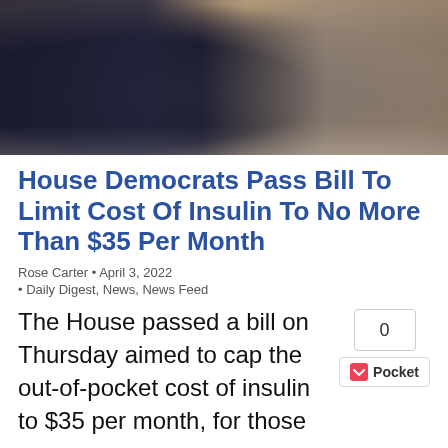[Figure (photo): Photo of two people, a man in a dark suit with a blue tie and an American flag pin, and a woman in a tan/beige jacket, standing together]
House Democrats Pass Bill To Limit Cost Of Insulin To No More Than $35 Per Month
Rose Carter • April 3, 2022
• Daily Digest, News, News Feed
The House passed a bill on Thursday aimed to cap the out-of-pocket cost of insulin to $35 per month, for those on...